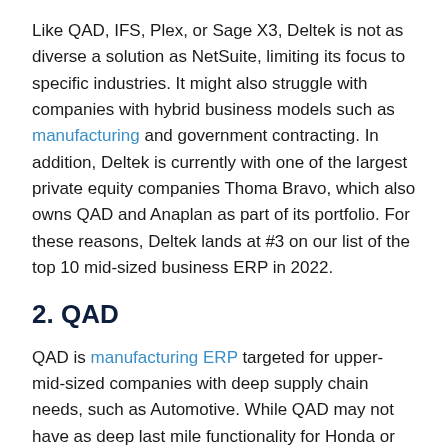Like QAD, IFS, Plex, or Sage X3, Deltek is not as diverse a solution as NetSuite, limiting its focus to specific industries. It might also struggle with companies with hybrid business models such as manufacturing and government contracting. In addition, Deltek is currently with one of the largest private equity companies Thoma Bravo, which also owns QAD and Anaplan as part of its portfolio. For these reasons, Deltek lands at #3 on our list of the top 10 mid-sized business ERP in 2022.
2. QAD
QAD is manufacturing ERP targeted for upper-mid-sized companies with deep supply chain needs, such as Automotive. While QAD may not have as deep last mile functionality for Honda or Toyota ecosystems like Plex, Infor LN, it has much deeper international trade and TMS